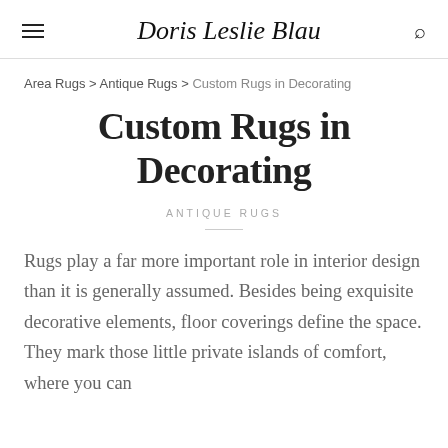Doris Leslie Blau
Area Rugs > Antique Rugs > Custom Rugs in Decorating
Custom Rugs in Decorating
ANTIQUE RUGS
Rugs play a far more important role in interior design than it is generally assumed. Besides being exquisite decorative elements, floor coverings define the space. They mark those little private islands of comfort, where you can